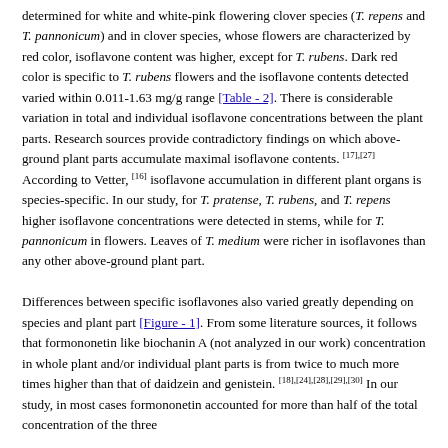determined for white and white-pink flowering clover species (T. repens and T. pannonicum) and in clover species, whose flowers are characterized by red color, isoflavone content was higher, except for T. rubens. Dark red color is specific to T. rubens flowers and the isoflavone contents detected varied within 0.011-1.63 mg/g range [Table - 2]. There is considerable variation in total and individual isoflavone concentrations between the plant parts. Research sources provide contradictory findings on which above-ground plant parts accumulate maximal isoflavone contents. [17],[27] According to Vetter, [16] isoflavone accumulation in different plant organs is species-specific. In our study, for T. pratense, T. rubens, and T. repens higher isoflavone concentrations were detected in stems, while for T. pannonicum in flowers. Leaves of T. medium were richer in isoflavones than any other above-ground plant part.

Differences between specific isoflavones also varied greatly depending on species and plant part [Figure - 1]. From some literature sources, it follows that formononetin like biochanin A (not analyzed in our work) concentration in whole plant and/or individual plant parts is from twice to much more times higher than that of daidzein and genistein. [18],[24],[28],[29],[30] In our study, in most cases formononetin accounted for more than half of the total concentration of the three